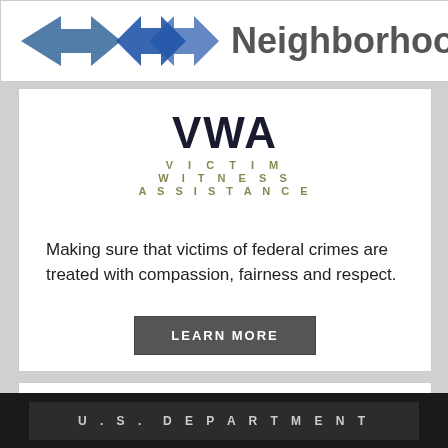[Figure (logo): Safe Neighborhoods logo with two blue arrows and the word Neighborhoods in gray]
[Figure (logo): VWA Victim Witness Assistance logo with bold VWA and subtitle lines in gold/olive]
Making sure that victims of federal crimes are treated with compassion, fairness and respect.
LEARN MORE
[Figure (logo): Oficinas de los Fiscales de los Estados Unidos En Español logo with small-caps serif title]
U.S. DEPARTMENT